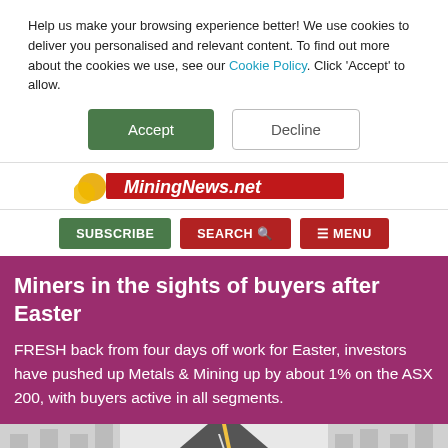Help us make your browsing experience better! We use cookies to deliver you personalised and relevant content. To find out more about the cookies we use, see our Cookie Policy. Click 'Accept' to allow.
Accept | Decline
[Figure (logo): MiningNews.net logo with red banner and gold coins graphic]
SUBSCRIBE  SEARCH  MENU
Miners in the sights of buyers after Easter
FRESH back from four days off work for Easter, investors have pushed up Metals & Mining up by about 1% on the ASX 200, with buyers active in all segments.
[Figure (photo): Aerial view of a road leading into a maze or labyrinth]